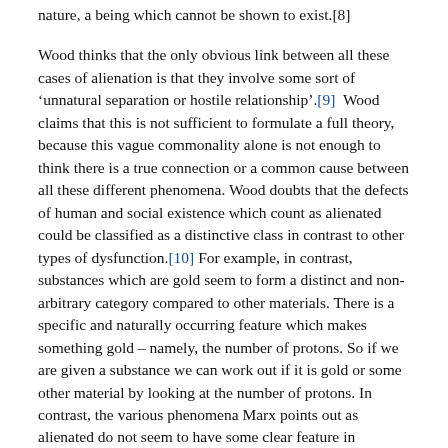nature, a being which cannot be shown to exist.[8] Wood thinks that the only obvious link between all these cases of alienation is that they involve some sort of 'unnatural separation or hostile relationship'.[9] Wood claims that this is not sufficient to formulate a full theory, because this vague commonality alone is not enough to think there is a true connection or a common cause between all these different phenomena. Wood doubts that the defects of human and social existence which count as alienated could be classified as a distinctive class in contrast to other types of dysfunction.[10] For example, in contrast, substances which are gold seem to form a distinct and non-arbitrary category compared to other materials. There is a specific and naturally occurring feature which makes something gold – namely, the number of protons. So if we are given a substance we can work out if it is gold or some other material by looking at the number of protons. In contrast, the various phenomena Marx points out as alienated do not seem to have some clear feature in common which determines them as alienated in the same way. It seems there is not some fundamental property that all and only alienated dysfunctions have, in the same way that